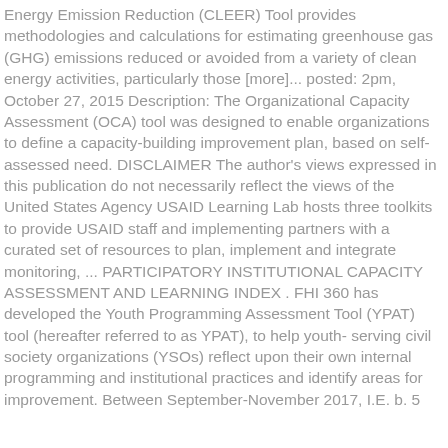Energy Emission Reduction (CLEER) Tool provides methodologies and calculations for estimating greenhouse gas (GHG) emissions reduced or avoided from a variety of clean energy activities, particularly those [more]... posted: 2pm, October 27, 2015 Description: The Organizational Capacity Assessment (OCA) tool was designed to enable organizations to define a capacity-building improvement plan, based on self-assessed need. DISCLAIMER The author's views expressed in this publication do not necessarily reflect the views of the United States Agency USAID Learning Lab hosts three toolkits to provide USAID staff and implementing partners with a curated set of resources to plan, implement and integrate monitoring, ... PARTICIPATORY INSTITUTIONAL CAPACITY ASSESSMENT AND LEARNING INDEX . FHI 360 has developed the Youth Programming Assessment Tool (YPAT) tool (hereafter referred to as YPAT), to help youth- serving civil society organizations (YSOs) reflect upon their own internal programming and institutional practices and identify areas for improvement. Between September-November 2017, I.E. b. 5